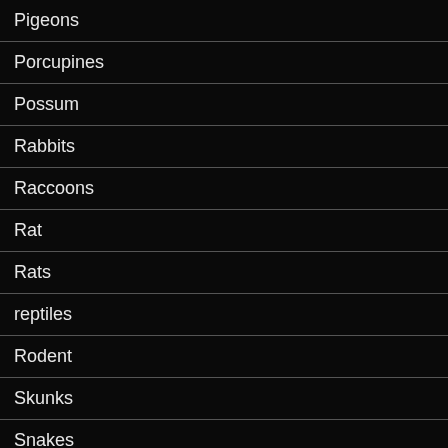Pigeons
Porcupines
Possum
Rabbits
Raccoons
Rat
Rats
reptiles
Rodent
Skunks
Snakes
Squirrels
Swallows